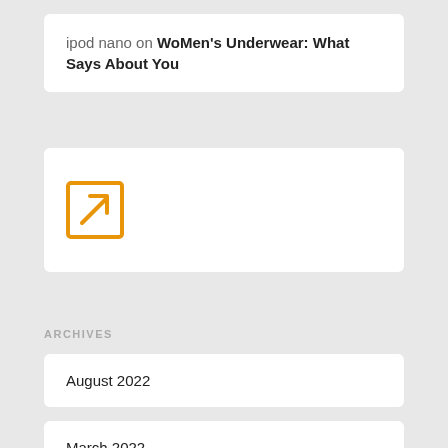ipod nano on WoMen's Underwear: What Says About You
[Figure (illustration): Orange square icon with an upward-right arrow (external link icon)]
ARCHIVES
August 2022
March 2022